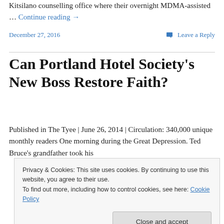Kitsilano counselling office where their overnight MDMA-assisted … Continue reading →
December 27, 2016
Leave a Reply
Can Portland Hotel Society's New Boss Restore Faith?
Published in The Tyee | June 26, 2014 | Circulation: 340,000 unique monthly readers One morning during the Great Depression. Ted Bruce's grandfather took his
Privacy & Cookies: This site uses cookies. By continuing to use this website, you agree to their use.
To find out more, including how to control cookies, see here: Cookie Policy
Close and accept